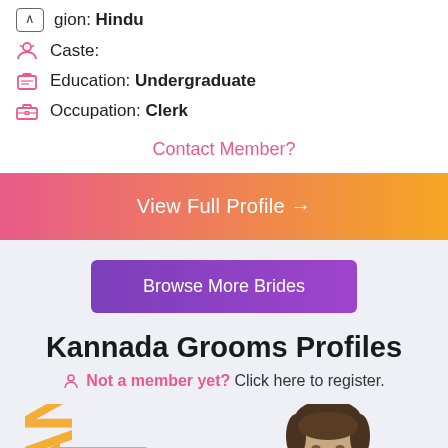Religion: Hindu
Caste:
Education: Undergraduate
Occupation: Clerk
Contact Member?
View Full Profile →
Browse More Brides
Kannada Grooms Profiles
Not a member yet? Click here to register.
Karnataka